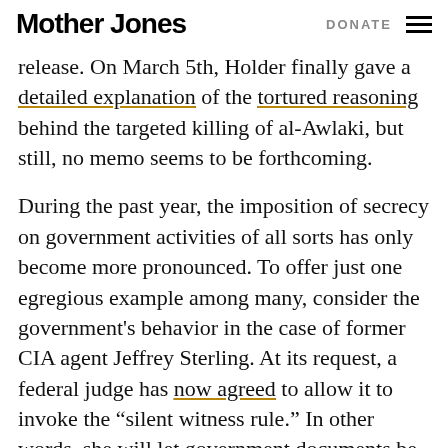Mother Jones | DONATE
release. On March 5th, Holder finally gave a detailed explanation of the tortured reasoning behind the targeted killing of al-Awlaki, but still, no memo seems to be forthcoming.
During the past year, the imposition of secrecy on government activities of all sorts has only become more pronounced. To offer just one egregious example among many, consider the government's behavior in the case of former CIA agent Jeffrey Sterling. At its request, a federal judge has now agreed to allow it to invoke the “silent witness rule.” In other words, she will let government documents be shown to the jury without being made public, on the grounds, according to prosecutors, of “national